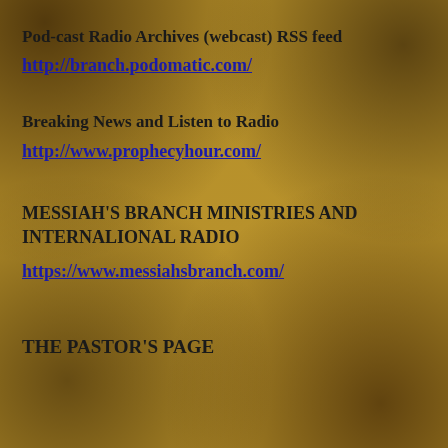Pod-cast Radio Archives (webcast) RSS feed
http://branch.podomatic.com/
Breaking News and Listen to Radio
http://www.prophecyhour.com/
MESSIAH'S BRANCH MINISTRIES AND INTERNALIONAL RADIO
https://www.messiahsbranch.com/
THE PASTOR'S PAGE